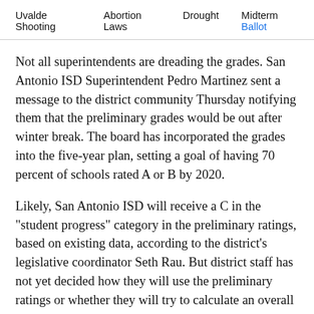Uvalde Shooting   Abortion Laws   Drought   Midterm Ballot
Not all superintendents are dreading the grades. San Antonio ISD Superintendent Pedro Martinez sent a message to the district community Thursday notifying them that the preliminary grades would be out after winter break. The board has incorporated the grades into the five-year plan, setting a goal of having 70 percent of schools rated A or B by 2020.
Likely, San Antonio ISD will receive a C in the "student progress" category in the preliminary ratings, based on existing data, according to the district's legislative coordinator Seth Rau. But district staff has not yet decided how they will use the preliminary ratings or whether they will try to calculate an overall grade, he said.
Legislation around this rating system is trickling in for